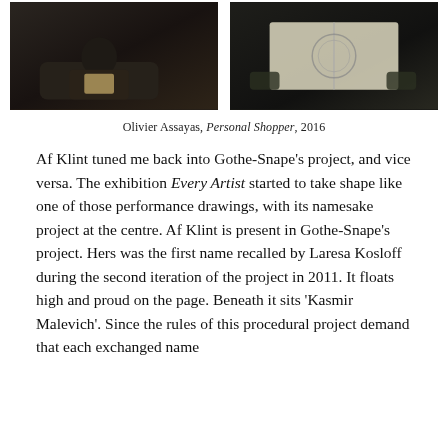[Figure (photo): Two dark film stills side by side: left shows a person sitting in a chair reading a book in a dimly lit room; right shows hands holding an open book with a circular emblem visible on the page.]
Olivier Assayas, Personal Shopper, 2016
Af Klint tuned me back into Gothe-Snape’s project, and vice versa. The exhibition Every Artist started to take shape like one of those performance drawings, with its namesake project at the centre. Af Klint is present in Gothe-Snape’s project. Hers was the first name recalled by Laresa Kosloff during the second iteration of the project in 2011. It floats high and proud on the page. Beneath it sits ‘Kasmir Malevich’. Since the rules of this procedural project demand that each exchanged name